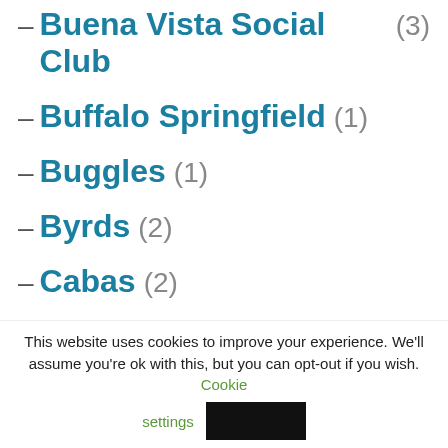– Buena Vista Social Club (3)
– Buffalo Springfield (1)
– Buggles (1)
– Byrds (2)
– Cabas (2)
– Caetano Veloso (6)
– Café Tacuba (5)
– Calexico (4)
This website uses cookies to improve your experience. We'll assume you're ok with this, but you can opt-out if you wish. Cookie settings [Accept]